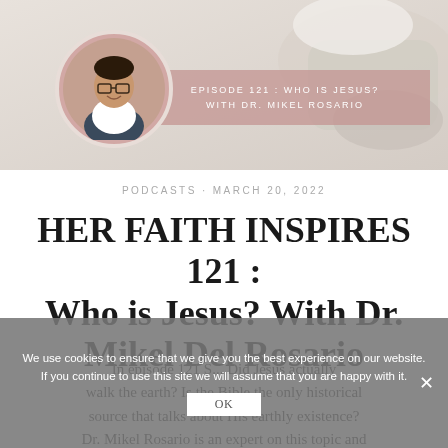[Figure (photo): Podcast banner image showing a person sitting in light beige/gray tones, with a circular portrait of Dr. Mikel Rosario overlaid, and a pink/mauve translucent strip with episode text reading 'EPISODE 121 : WHO IS JESUS? WITH DR. MIKEL ROSARIO']
PODCASTS · MARCH 20, 2022
HER FAITH INSPIRES 121 : Who is Jesus? With Dr. Mikel Del Rosario
We use cookies to ensure that we give you the best experience on our website. If you continue to use this site we will assume that you are happy with it.
In episode 121 S... Did Jesus walk the earth? Is the Bible the only historical source that talks about His earthly existence? Dr. Mikel Rosario is an expert on this topic and